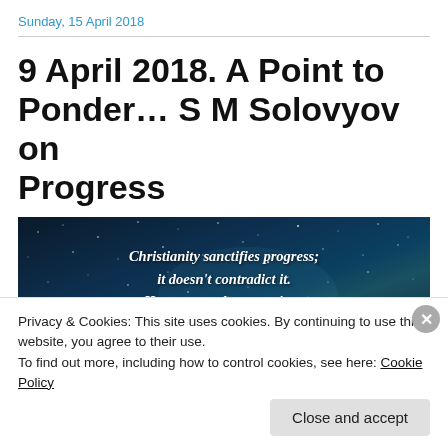Sunday, 15 April 2018
9 April 2018. A Point to Ponder… S M Solovyov on Progress
[Figure (illustration): Dark space/galaxy background with white italic bold text quote: 'Christianity sanctifies progress; it doesn't contradict it. However, at the same time, Christianity, as it embodies the highest ideal,']
Privacy & Cookies: This site uses cookies. By continuing to use this website, you agree to their use.
To find out more, including how to control cookies, see here: Cookie Policy
Close and accept